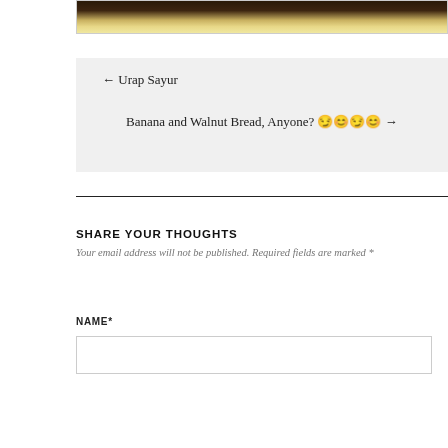[Figure (photo): Top portion of a food photograph showing what appears to be a dish, partially cropped at top edge]
← Urap Sayur
Banana and Walnut Bread, Anyone? 😏😊😏😊 →
SHARE YOUR THOUGHTS
Your email address will not be published. Required fields are marked *
NAME*
[Figure (other): Empty text input field for Name]